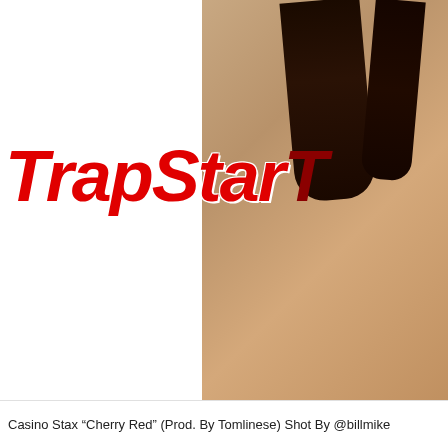[Figure (photo): Music single cover art for Casino Stax 'Cherry Red'. Left side is white background with large italic red and dark red 'TrapStarTv' logo text overlaid. Right side shows a figure from behind against white background. Hair visible at top right.]
Casino Stax “Cherry Red” (Prod. By Tomlinese) Shot By @billmike